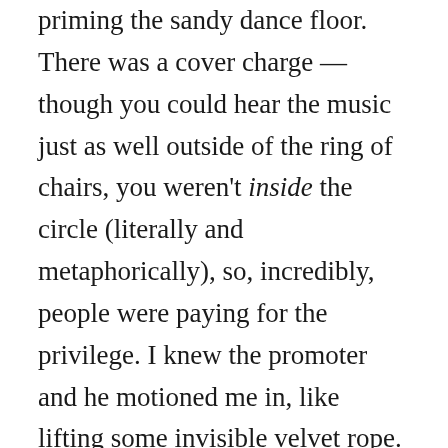priming the sandy dance floor. There was a cover charge — though you could hear the music just as well outside of the ring of chairs, you weren't inside the circle (literally and metaphorically), so, incredibly, people were paying for the privilege. I knew the promoter and he motioned me in, like lifting some invisible velvet rope. I followed him into the 'club' and discovered there was an additional half-circle at the far end of the circle of chairs — a lip in the larger ring that served as the VIP room. Remember — this was all